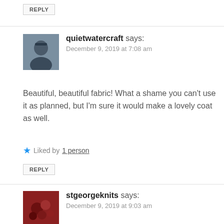REPLY
[Figure (photo): Avatar photo of quietwatercraft user, a person with short dark hair]
quietwatercraft says:
December 9, 2019 at 7:08 am
Beautiful, beautiful fabric! What a shame you can't use it as planned, but I'm sure it would make a lovely coat as well.
Liked by 1 person
REPLY
[Figure (photo): Avatar photo of stgeorgeknits user, showing red textured flowers or yarn]
stgeorgeknits says:
December 9, 2019 at 9:03 am
That's a nice fabric. If you made the jumpsuit with that heavy fabric, it would be a workout when you wear it! 2-in-1 suit! I'm a solo sewist, although I've not sewn in